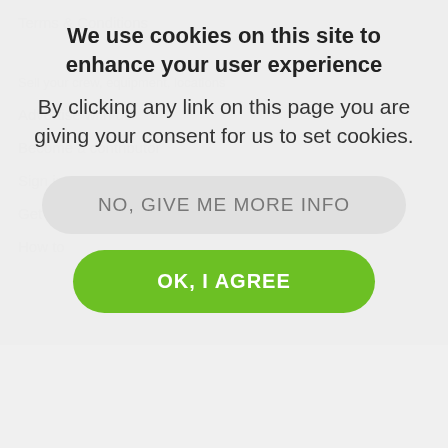Terms & Conditions
Advertise with us
Become a contributor
Sign in
Get listed
How to
[Figure (screenshot): Cookie consent overlay with message 'We use cookies on this site to enhance your user experience. By clicking any link on this page you are giving your consent for us to set cookies.' with two buttons: 'NO, GIVE ME MORE INFO' (grey) and 'OK, I AGREE' (green)]
Search our directory
Visit our forum
Read our latest articles
Search our filming incentives
[Figure (other): Social media icons: Facebook, Twitter, LinkedIn, Instagram in white]